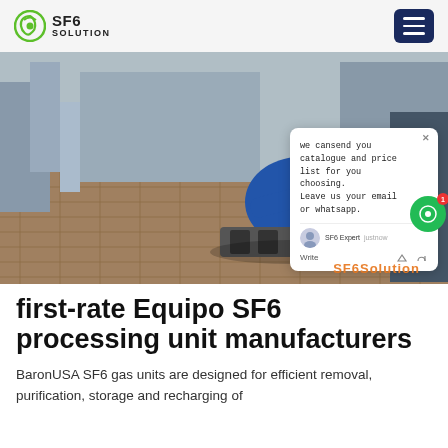SF6 SOLUTION
[Figure (photo): A worker in blue hardhat and jacket kneeling on brick pavement working on SF6 gas equipment at an industrial site. A live chat popup overlay reads: 'we cansend you catalogue and price list for you choosing. Leave us your email or whatsapp.' with chat input and SF6 Expert avatar.]
first-rate Equipo SF6 processing unit manufacturers
BaronUSA SF6 gas units are designed for efficient removal, purification, storage and recharging of